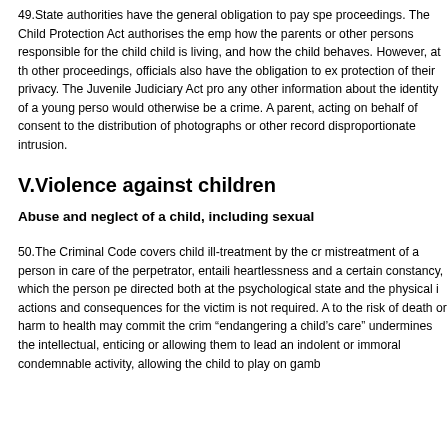49.State authorities have the general obligation to pay spe proceedings. The Child Protection Act authorises the emp how the parents or other persons responsible for the child child is living, and how the child behaves. However, at th other proceedings, officials also have the obligation to exa protection of their privacy. The Juvenile Judiciary Act pro any other information about the identity of a young perso would otherwise be a crime. A parent, acting on behalf of consent to the distribution of photographs or other recordi disproportionate intrusion.
V.Violence against children
Abuse and neglect of a child, including sexual
50.The Criminal Code covers child ill-treatment by the cr mistreatment of a person in care of the perpetrator, entaili heartlessness and a certain constancy, which the person pe directed both at the psychological state and the physical i actions and consequences for the victim is not required. A to the risk of death or harm to health may commit the crim "endangering a child's care" undermines the intellectual, enticing or allowing them to lead an indolent or immoral condemnable activity, allowing the child to play on gamb